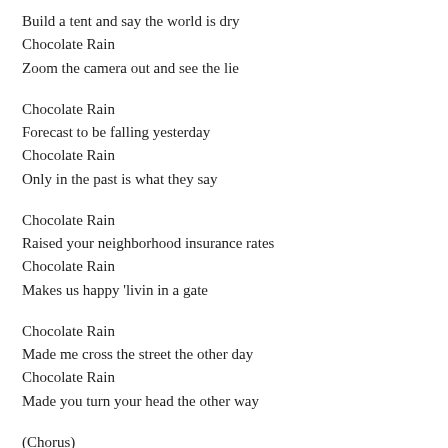Build a tent and say the world is dry
Chocolate Rain
Zoom the camera out and see the lie
Chocolate Rain
Forecast to be falling yesterday
Chocolate Rain
Only in the past is what they say
Chocolate Rain
Raised your neighborhood insurance rates
Chocolate Rain
Makes us happy 'livin in a gate
Chocolate Rain
Made me cross the street the other day
Chocolate Rain
Made you turn your head the other way
(Chorus)
Chocolate Rain
History quickly crashing through your veins